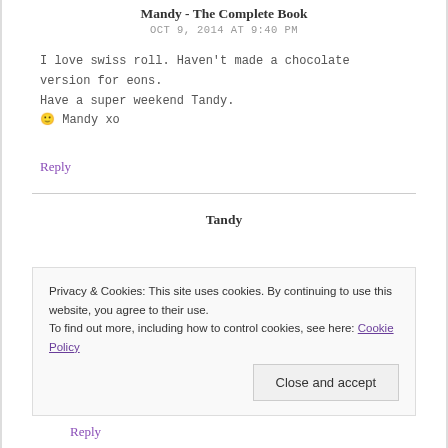Mandy - The Complete Book
OCT 9, 2014 AT 9:40 PM
I love swiss roll. Haven't made a chocolate version for eons.
Have a super weekend Tandy.
🙂 Mandy xo
Reply
Tandy
Privacy & Cookies: This site uses cookies. By continuing to use this website, you agree to their use.
To find out more, including how to control cookies, see here: Cookie Policy
Close and accept
Reply